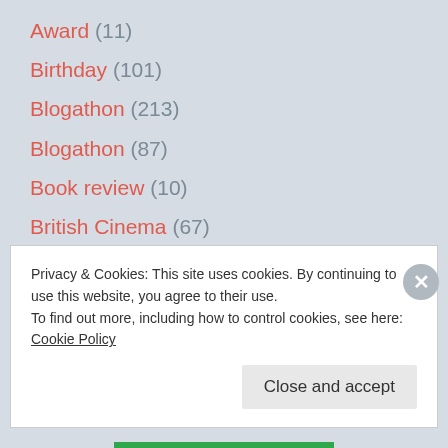Award (11)
Birthday (101)
Blogathon (213)
Blogathon (87)
Book review (10)
British Cinema (67)
Cinema's Tributes (34)
Classic Television (6)
Privacy & Cookies: This site uses cookies. By continuing to use this website, you agree to their use.
To find out more, including how to control cookies, see here: Cookie Policy
Close and accept